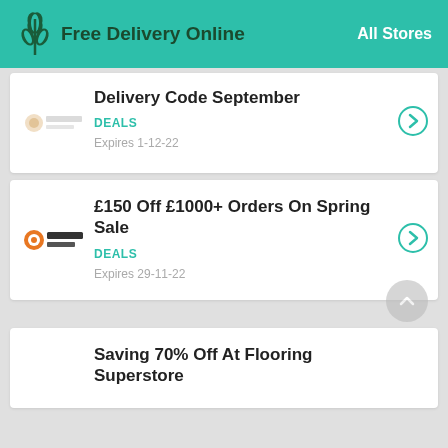Free Delivery Online | All Stores
Delivery Code September
DEALS
Expires 1-12-22
£150 Off £1000+ Orders On Spring Sale
DEALS
Expires 29-11-22
Saving 70% Off At Flooring Superstore